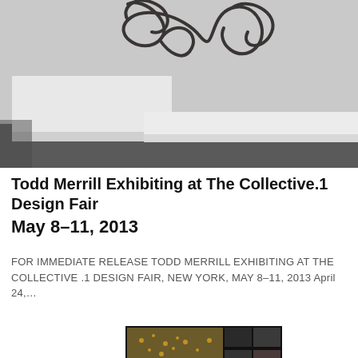[Figure (photo): Interior gallery photo showing abstract metal sculpture with looping curved forms hanging from ceiling, over white display pedestals on dark floor]
Todd Merrill Exhibiting at The Collective.1 Design Fair
May 8–11, 2013
FOR IMMEDIATE RELEASE TODD MERRILL EXHIBITING AT THE COLLECTIVE .1 DESIGN FAIR, NEW YORK, MAY 8–11, 2013 April 24,…
[Figure (screenshot): Screenshot of a website or digital interface showing gallery images and text content]